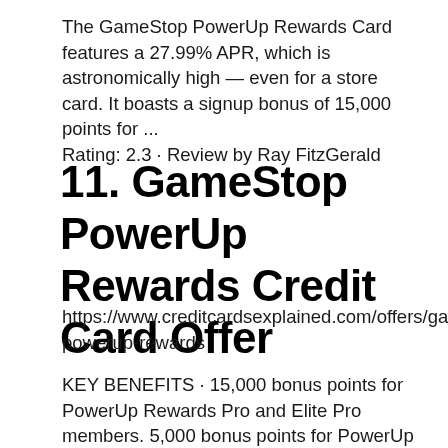The GameStop PowerUp Rewards Card features a 27.99% APR, which is astronomically high — even for a store card. It boasts a signup bonus of 15,000 points for ...
Rating: 2.3 · Review by Ray FitzGerald
11. GameStop PowerUp Rewards Credit Card Offer
https://www.creditcardsexplained.com/offers/gamestop-powerup-rewards
KEY BENEFITS · 15,000 bonus points for PowerUp Rewards Pro and Elite Pro members. 5,000 bonus points for PowerUp Rewards Player members.** · 5,000 bonus points...